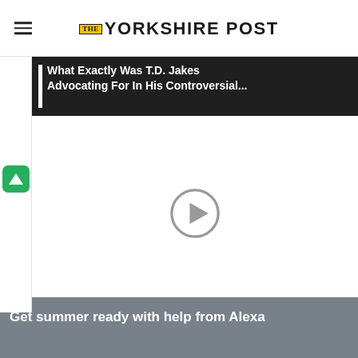THE YORKSHIRE POST
[Figure (screenshot): Video player showing an advertisement overlay with text 'What Exactly Was T.D. Jakes Advocating For In His Controversial...' on dark background, with a green icon featuring a triangle/A logo on the left side, and a circular play button in the center of the video area.]
Get summer ready with help from Alexa